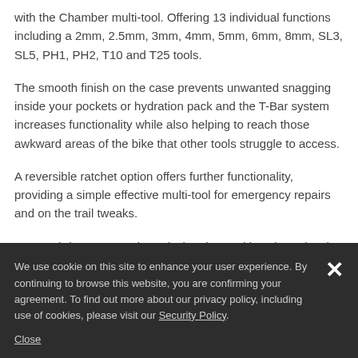with the Chamber multi-tool. Offering 13 individual functions including a 2mm, 2.5mm, 3mm, 4mm, 5mm, 6mm, 8mm, SL3, SL5, PH1, PH2, T10 and T25 tools.
The smooth finish on the case prevents unwanted snagging inside your pockets or hydration pack and the T-Bar system increases functionality while also helping to reach those awkward areas of the bike that other tools struggle to access.
A reversible ratchet option offers further functionality, providing a simple effective multi-tool for emergency repairs and on the trail tweaks.
2016 Fabric Water Bottle And Chamber Multi Tool Preview | Eurobike 2015
We use cookie on this site to enhance your user experience. By continuing to browse this website, you are confirming your agreement. To find out more about our privacy policy, including use of cookies, please visit our Security Policy.
Close